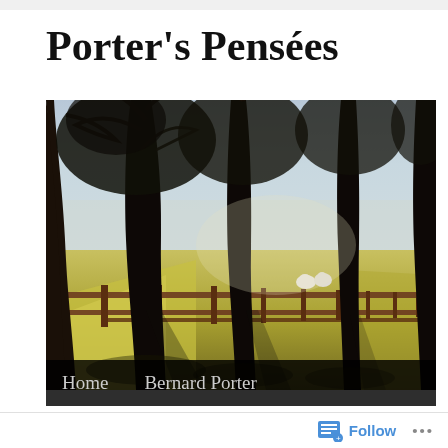Porter's Pensées
[Figure (photo): A row of large bare trees alongside a wooden fence in a field with sunlit grass and two sheep visible in the background distance.]
Home    Bernard Porter
← Down in the Dumps
Follow  ...